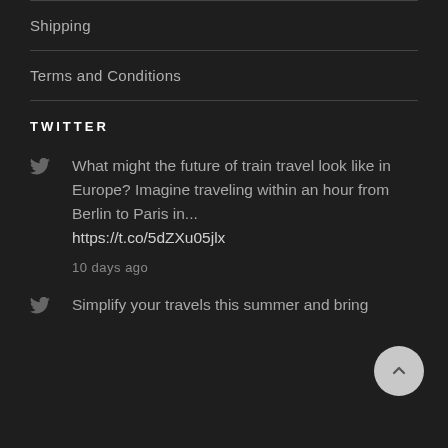Shipping
Terms and Conditions
TWITTER
What might the future of train travel look like in Europe? Imagine traveling within an hour from Berlin to Paris in... https://t.co/5dZXu05jlx
10 days ago
Simplify your travels this summer and bring